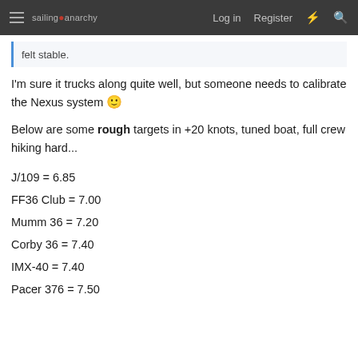sailing anarchy  Log in  Register
felt stable.
I'm sure it trucks along quite well, but someone needs to calibrate the Nexus system 🙂
Below are some rough targets in +20 knots, tuned boat, full crew hiking hard...
J/109 = 6.85
FF36 Club = 7.00
Mumm 36 = 7.20
Corby 36 = 7.40
IMX-40 = 7.40
Pacer 376 = 7.50